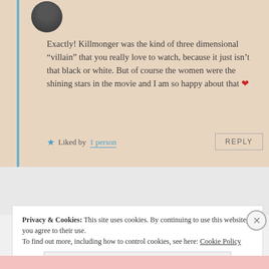[Figure (photo): Circular avatar photo of a person, partially cropped at top]
Exactly! Killmonger was the kind of three dimensional “villain” that you really love to watch, because it just isn’t that black or white. But of course the women were the shining stars in the movie and I am so happy about that ❤️
Liked by 1 person
REPLY
Privacy & Cookies: This site uses cookies. By continuing to use this website, you agree to their use.
To find out more, including how to control cookies, see here: Cookie Policy
Close and accept